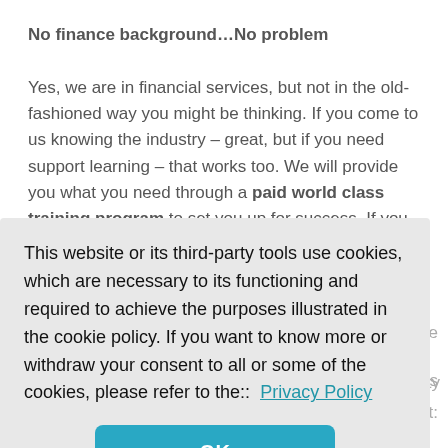No finance background…No problem
Yes, we are in financial services, but not in the old-fashioned way you might be thinking. If you come to us knowing the industry – great, but if you need support learning – that works too. We will provide you what you need through a paid world class training program to set you up for success. If you can bring us [partially obscured] ...u the [partially obscured] ...e is [partially obscured] ...at:
This website or its third-party tools use cookies, which are necessary to its functioning and required to achieve the purposes illustrated in the cookie policy. If you want to know more or withdraw your consent to all or some of the cookies, please refer to the::  Privacy Policy
OK